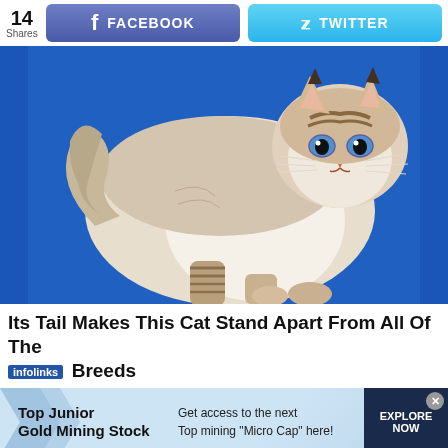14 Shares | FACEBOOK | TWITTER
[Figure (photo): A fluffy Siberian or Neva Masquerade cat with white and beige fur, tabby markings on its face and legs, blue eyes, standing sideways against a bright blue background.]
Its Tail Makes This Cat Stand Apart From All Of The Breeds
[Figure (infographic): Ad banner: Top Junior Gold Mining Stock — Get access to the next Top mining "Micro Cap" here! — EXPLORE NOW]